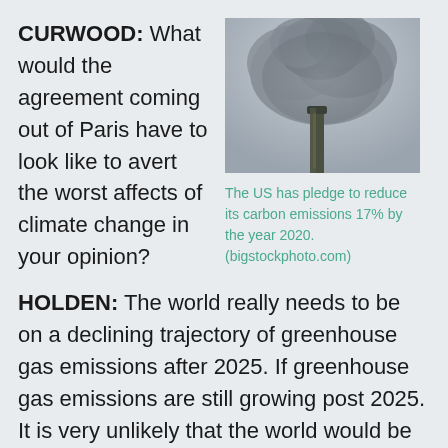CURWOOD: What would the agreement coming out of Paris have to look like to avert the worst affects of climate change in your opinion?
[Figure (photo): Industrial smokestack emitting large billowing dark smoke cloud against a grey sky]
The US has pledge to reduce its carbon emissions 17% by the year 2020. (bigstockphoto.com)
HOLDEN: The world really needs to be on a declining trajectory of greenhouse gas emissions after 2025. If greenhouse gas emissions are still growing post 2025. It is very unlikely that the world would be able to avoid exceeding the target of two degrees Celsius above pre-